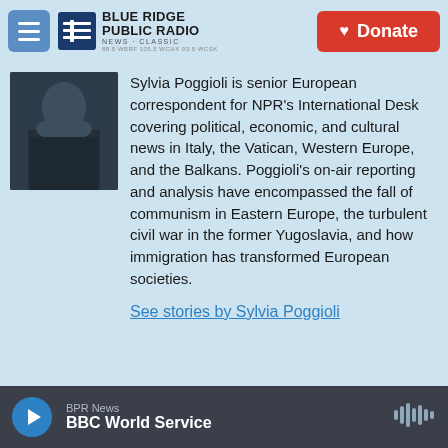Blue Ridge Public Radio — Donate
[Figure (photo): Photo of Sylvia Poggioli, a woman in dark clothing]
Sylvia Poggioli is senior European correspondent for NPR's International Desk covering political, economic, and cultural news in Italy, the Vatican, Western Europe, and the Balkans. Poggioli's on-air reporting and analysis have encompassed the fall of communism in Eastern Europe, the turbulent civil war in the former Yugoslavia, and how immigration has transformed European societies.
See stories by Sylvia Poggioli
BPR News — BBC World Service